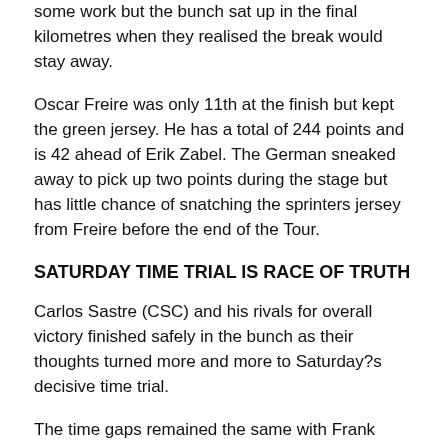some work but the bunch sat up in the final kilometres when they realised the break would stay away.
Oscar Freire was only 11th at the finish but kept the green jersey. He has a total of 244 points and is 42 ahead of Erik Zabel. The German sneaked away to pick up two points during the stage but has little chance of snatching the sprinters jersey from Freire before the end of the Tour.
SATURDAY TIME TRIAL IS RACE OF TRUTH
Carlos Sastre (CSC) and his rivals for overall victory finished safely in the bunch as their thoughts turned more and more to Saturday?s decisive time trial.
The time gaps remained the same with Frank Schleck (CSC) second at 1-24, Bernhard Kohl (Gerolsteiner) third and...